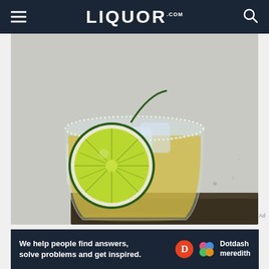LIQUOR.COM
[Figure (photo): A margarita cocktail in a rocks glass with a salted rim, garnished with a lime wheel, filled with golden liquid and ice cubes, on a dark surface with a light grey background.]
Ad
We help people find answers, solve problems and get inspired. Dotdash meredith